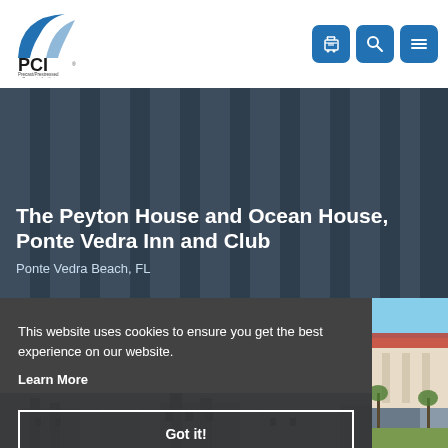[Figure (logo): PCI Precast/Prestressed Concrete Institute logo with blue arch graphic]
[Figure (screenshot): Navigation icons: shopping cart, search, and hamburger menu buttons in blue on white header]
The Peyton House and Ocean House, Ponte Vedra Inn and Club
Ponte Vedra Beach, FL
This website uses cookies to ensure you get the best experience on our website.
Learn More
Got it!